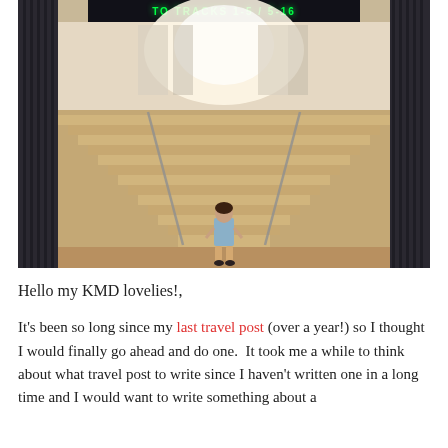[Figure (photo): A woman in a denim romper stands at the bottom of grand marble stairs inside what appears to be a large train station or public building. Dark fluted columns frame both sides, and a green neon sign reading 'TO TRACKS 1-5/5-16' or similar is visible at the top. The interior is brightly lit with warm tones.]
Hello my KMD lovelies!,
It's been so long since my last travel post (over a year!) so I thought I would finally go ahead and do one.  It took me a while to think about what travel post to write since I haven't written one in a long time and I would want to write something about a